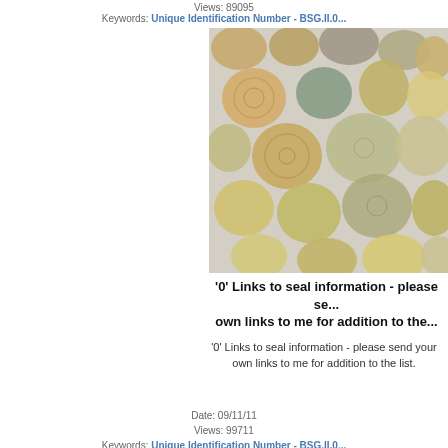Views: 89095
Keywords: Unique Identification Number - BSG.II.0...
[Figure (photo): A collection of ancient coins and seals, mostly round, in various states of preservation, arranged on a light background. The coins appear to be Byzantine or medieval lead seals.]
'0' Links to seal information - please se... own links to me for addition to the...
'0' Links to seal information - please send your own links to me for addition to the list.
Date: 09/11/11
Views: 99711
Keywords: Unique Identification Number - BSG.II.0...